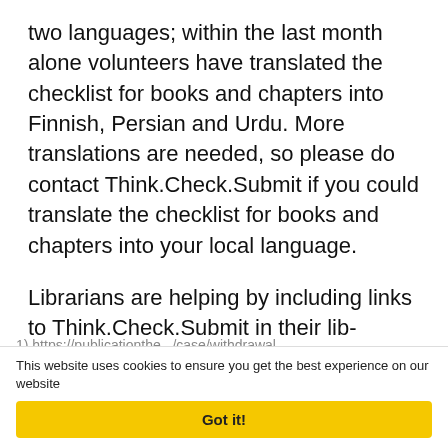two languages; within the last month alone volunteers have translated the checklist for books and chapters into Finnish, Persian and Urdu. More translations are needed, so please do contact Think.Check.Submit if you could translate the checklist for books and chapters into your local language.
Librarians are helping by including links to Think.Check.Submit in their lib-guides, workshops and other information for researchers. There are some great examples of publishers linking to Think.Check.Submit. from their submission pages. You can also help by sharing your story – let Think.Check.Submit. know how you, or your researchers, have used the tool.
1) https://publicationethics.org/case/withdrawal...
This website uses cookies to ensure you get the best experience on our website
Got it!